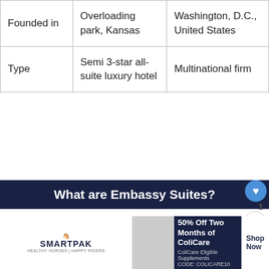| Founded in | Overloading park, Kansas | Washington, D.C., United States |
| Type | Semi 3-star all-suite luxury hotel | Multinational firm |
What are Embassy Suites?
Embassy Suites with Hilton is a semi 3-star all-suite luxury hotel owned by Hilton Worl... Since about December 31, 2019, there h...
[Figure (other): Advertisement banner for SmartPak: 50% Off Two Months of ColiCare, ColiCare Eligible Supplements, CODE: COLICARE10]